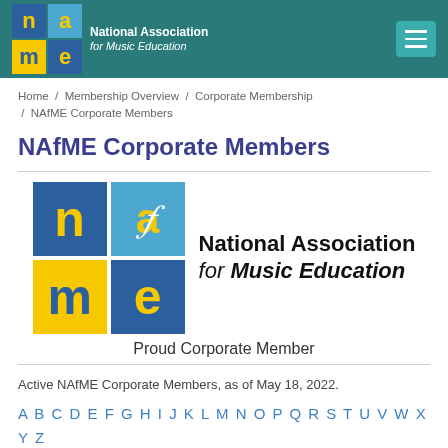National Association for Music Education
Home / Membership Overview / Corporate Membership / NAfME Corporate Members
NAfME Corporate Members
[Figure (logo): NAfME logo - large version with grid squares showing n, a, m, e letters in blue/yellow/teal colors and text National Association for Music Education]
Proud Corporate Member
Active NAfME Corporate Members, as of May 18, 2022.
A B C D E F G H I J K L M N O P Q R S T U V W X Y Z